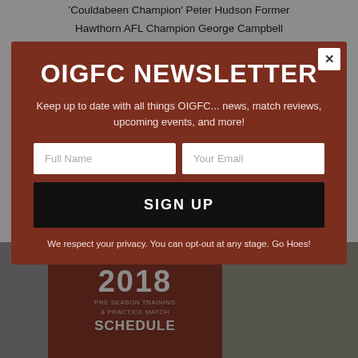'Couldabeen Champion' Peter Hudson Former Hawthorn AFL Champion George Campbell Former Scottish & International Soccer Player Dr David Buttifant High Performance Coach
[Figure (infographic): 2018 Pre Season Training & Practice Match Schedule banner with two grayscale sports field photos flanking a dark red center panel]
OIGFC NEWSLETTER
Keep up to date with all things OIGFC... news, match reviews, upcoming events, and more!
Full Name
Your Email
SIGN UP
We respect your privacy. You can opt-out at any stage. Go Hoes!